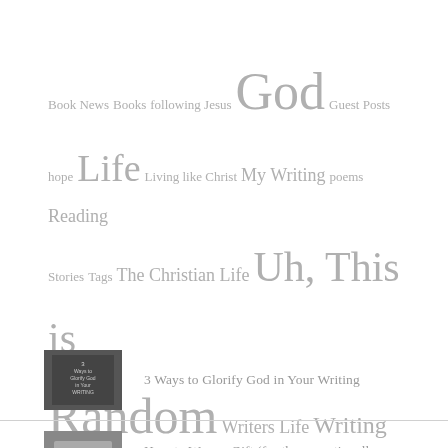Book News   Books   following Jesus   God   Guest Posts   hope   Life   Living like Christ   My Writing   poems   Reading   Stories   Tags   The Christian Life   Uh, This is Random   Writers Life   Writing
3 Ways to Glorify God in Your Writing
How to Wrap a Gift (for the exceptionally challenged)
In Defense of Short Fiction